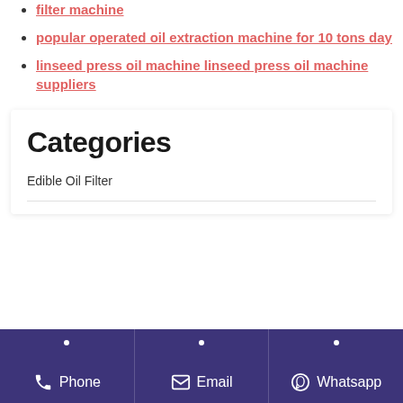filter machine
popular operated oil extraction machine for 10 tons day
linseed press oil machine linseed press oil machine suppliers
Categories
Edible Oil Filter
Phone   Email   Whatsapp